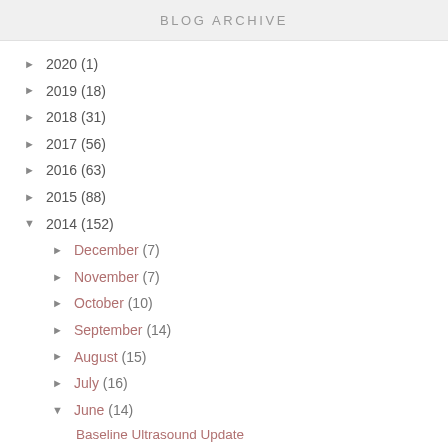BLOG ARCHIVE
► 2020 (1)
► 2019 (18)
► 2018 (31)
► 2017 (56)
► 2016 (63)
► 2015 (88)
▼ 2014 (152)
► December (7)
► November (7)
► October (10)
► September (14)
► August (15)
► July (16)
▼ June (14)
Baseline Ultrasound Update
Friday Favorites